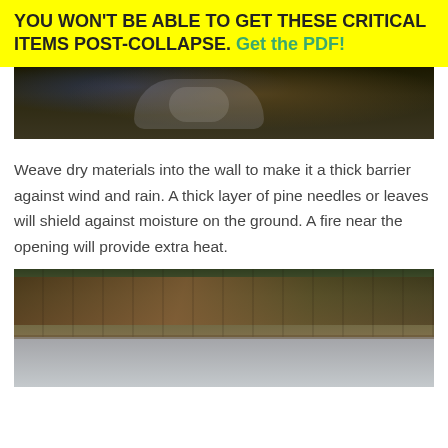YOU WON'T BE ABLE TO GET THESE CRITICAL ITEMS POST-COLLAPSE. Get the PDF!
[Figure (photo): Person sitting at a desk with hands clasped, dark background]
Weave dry materials into the wall to make it a thick barrier against wind and rain. A thick layer of pine needles or leaves will shield against moisture on the ground. A fire near the opening will provide extra heat.
[Figure (photo): Outdoor survival shelter with tarp covering, trees visible in background, white tarp below]